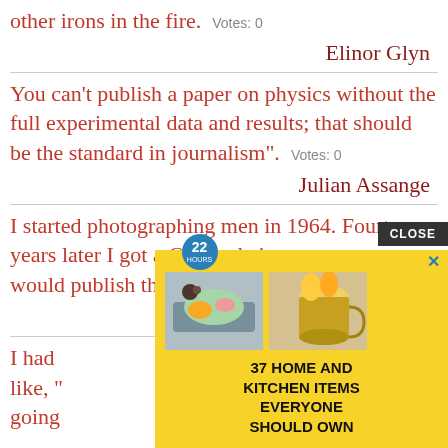other irons in the fire.  Votes: 0
Elinor Glyn
You can't publish a paper on physics without the full experimental data and results; that should be the standard in journalism".  Votes: 0
Julian Assange
I started photographing men in 1964. Fourteen years later I got a Guggenheim, even so no one would publish the male nudes.  Votes: 0
Judy Dater
I had  was like, "  ly going
[Figure (screenshot): Advertisement overlay: '37 HOME AND KITCHEN ITEMS EVERYONE SHOULD OWN' on yellow background with food images, close button, and badge showing '22 HOURS']